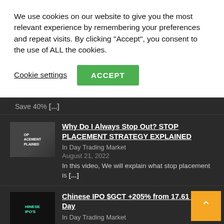We use cookies on our website to give you the most relevant experience by remembering your preferences and repeat visits. By clicking "Accept", you consent to the use of ALL the cookies.
Cookie settings
ACCEPT
Save 40% [...]
[Figure (photo): Thumbnail image for stop placement strategy video]
Why Do I Always Stop Out? STOP PLACEMENT STRATEGY EXPLAINED
In Day Trading Market
August 21, 2022
In this video, We will explain what stop placement is [...]
[Figure (photo): Thumbnail image for Chinese IPO video]
Chinese IPO $GCT +205% from 17.61 to in 1 Day
In Day Trading Market